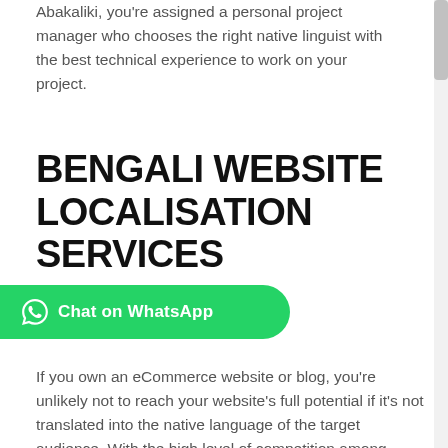Abakaliki, you're assigned a personal project manager who chooses the right native linguist with the best technical experience to work on your project.
BENGALI WEBSITE LOCALISATION SERVICES
[Figure (other): Green WhatsApp chat button with WhatsApp logo icon and text 'Chat on WhatsApp']
If you own an eCommerce website or blog, you're unlikely not to reach your website's full potential if it's not translated into the native language of the target audience. With the high level of competition among global brands, you need to localise your website for it to rank high on the Bengali search engine.